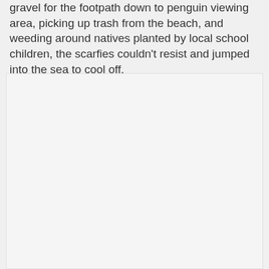gravel for the footpath down to penguin viewing area, picking up trash from the beach, and weeding around natives planted by local school children, the scarfies couldn't resist and jumped into the sea to cool off.
[Figure (photo): A large light gray/white rectangular image placeholder area occupying the lower portion of the page.]